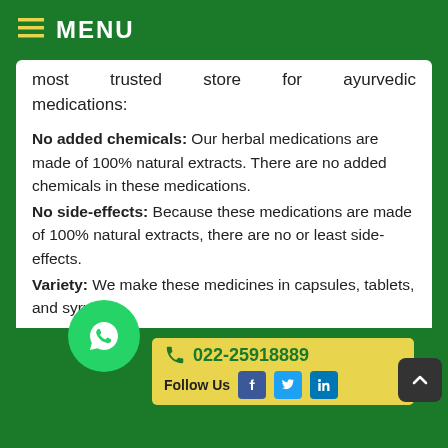MENU
most trusted store for ayurvedic medications:
No added chemicals: Our herbal medications are made of 100% natural extracts. There are no added chemicals in these medications.
No side-effects: Because these medications are made of 100% natural extracts, there are no or least side-effects.
Variety: We make these medicines in capsules, tablets, and syrups.
Price: All the medications are sold by us at the most affordable prices.
022-25918889  Follow Us